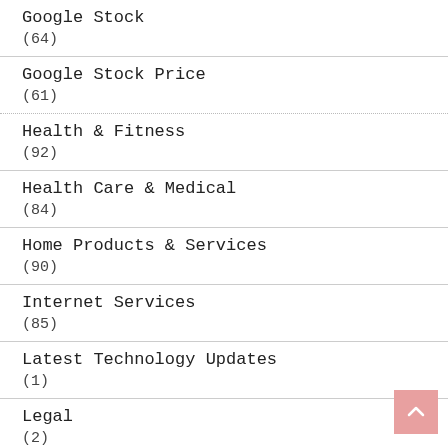Google Stock
(64)
Google Stock Price
(61)
Health & Fitness
(92)
Health Care & Medical
(84)
Home Products & Services
(90)
Internet Services
(85)
Latest Technology Updates
(1)
Legal
(2)